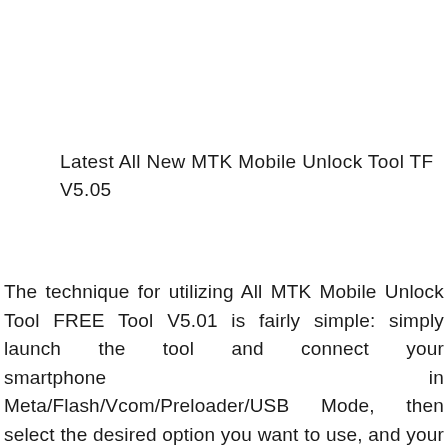Latest All New MTK Mobile Unlock Tool TF V5.05
The technique for utilizing All MTK Mobile Unlock Tool FREE Tool V5.01 is fairly simple: simply launch the tool and connect your smartphone in Meta/Flash/Vcom/Preloader/USB Mode, then select the desired option you want to use, and your phone will be detected and